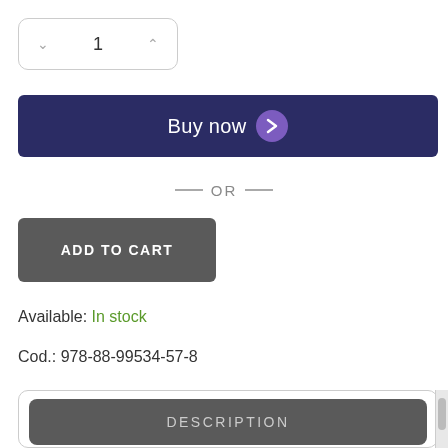[Figure (screenshot): Quantity selector input box showing value 1 with up/down arrows]
[Figure (screenshot): Buy now button with dark navy background and purple chevron circle icon]
— OR —
[Figure (screenshot): ADD TO CART button with dark grey background]
Available: In stock
Cod.: 978-88-99534-57-8
[Figure (screenshot): Tab panel with DESCRIPTION active tab and ADDITIONAL INFORMATION tab below]